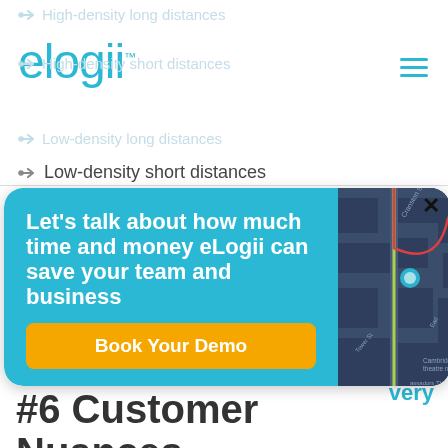elogii™
High-density long distances
High-density short distances
Low-density long distances
Low-density short distances
[Figure (screenshot): eLogii promotional popup overlay with cyan background on left side reading 'Let's talk about how much time and money eLogii can save your team and business' with an orange 'Book Your Demo' button, and a dark map on the right side showing street routes in London area with colored navigation lines. A black X close button is visible at top right of the popup.]
#6 Customer Nuances and Unpredictability of